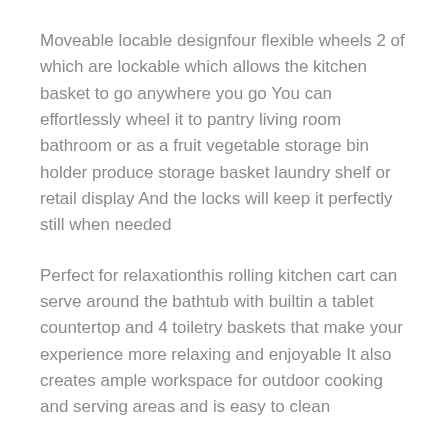Moveable locable designfour flexible wheels 2 of which are lockable which allows the kitchen basket to go anywhere you go You can effortlessly wheel it to pantry living room bathroom or as a fruit vegetable storage bin holder produce storage basket laundry shelf or retail display And the locks will keep it perfectly still when needed
Perfect for relaxationthis rolling kitchen cart can serve around the bathtub with builtin a tablet countertop and 4 toiletry baskets that make your experience more relaxing and enjoyable It also creates ample workspace for outdoor cooking and serving areas and is easy to clean
Premium qualitychloryard vegetable friut organizer shelves is made of steady durable metal construction which is antirust and stable to satisfy your longterm requirement with 1 year limited warranty